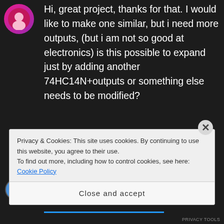Hi, great project, thanks for that. I would like to make one similar, but i need more outputs, (but i am not so good at electronics) is this possible to expand just by adding another 74HC14N+outputs or something else needs to be modified?
Like
Privacy & Cookies: This site uses cookies. By continuing to use this website, you agree to their use. To find out more, including how to control cookies, see here: Cookie Policy
Close and accept